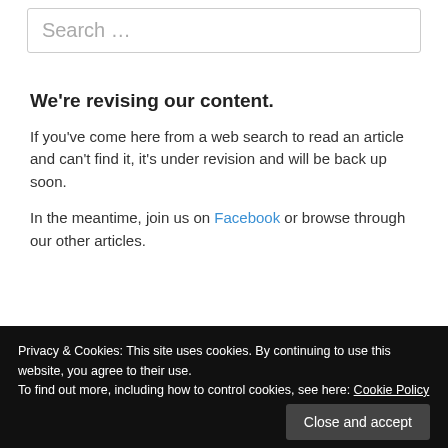Search …
We're revising our content.
If you've come here from a web search to read an article and can't find it, it's under revision and will be back up soon.
In the meantime, join us on Facebook or browse through our other articles.
Privacy & Cookies: This site uses cookies. By continuing to use this website, you agree to their use.
To find out more, including how to control cookies, see here: Cookie Policy
Close and accept